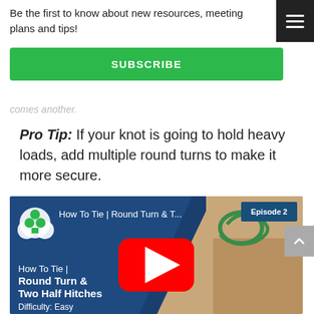Be the first to know about new resources, meeting plans and tips!
SUBSCRIBE
comes another.
Pro Tip: If your knot is going to hold heavy loads, add multiple round turns to make it more secure.
[Figure (screenshot): YouTube video thumbnail for 'How To Tie | Round Turn & Two Half Hitches', Episode 2, Difficulty: Easy. Features Girl Scout logo, YouTube play button, blue diagonal background, and hands tying a green rope knot.]